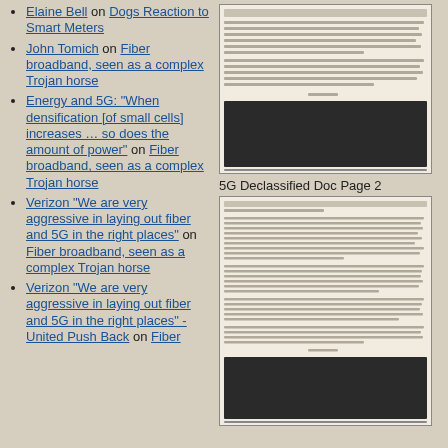Elaine Bell on Dogs Reaction to Smart Meters
John Tomich on Fiber broadband, seen as a complex Trojan horse
Energy and 5G: "When densification [of small cells] increases … so does the amount of power" on Fiber broadband, seen as a complex Trojan horse
Verizon "We are very aggressive in laying out fiber and 5G in the right places" on Fiber broadband, seen as a complex Trojan horse
Verizon "We are very aggressive in laying out fiber and 5G in the right places" - United Push Back on Fiber
[Figure (screenshot): Scanned declassified document page 1 with text and image]
5G Declassified Doc Page 2
[Figure (screenshot): Scanned declassified document page 2 with dense text and image at bottom]